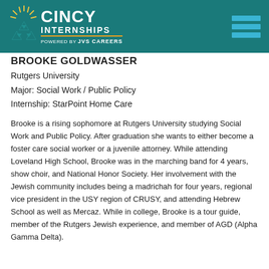CINCY INTERNSHIPS — Powered by JVS CAREERS
BROOKE GOLDWASSER
Rutgers University
Major: Social Work / Public Policy
Internship: StarPoint Home Care
Brooke is a rising sophomore at Rutgers University studying Social Work and Public Policy. After graduation she wants to either become a foster care social worker or a juvenile attorney. While attending Loveland High School, Brooke was in the marching band for 4 years, show choir, and National Honor Society. Her involvement with the Jewish community includes being a madrichah for four years, regional vice president in the USY region of CRUSY, and attending Hebrew School as well as Mercaz. While in college, Brooke is a tour guide, member of the Rutgers Jewish experience, and member of AGD (Alpha Gamma Delta).